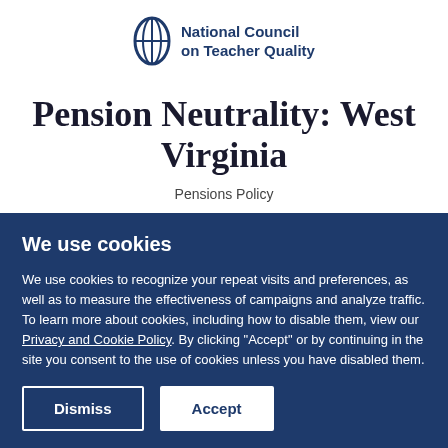National Council on Teacher Quality
Pension Neutrality: West Virginia
Pensions Policy
We use cookies
We use cookies to recognize your repeat visits and preferences, as well as to measure the effectiveness of campaigns and analyze traffic. To learn more about cookies, including how to disable them, view our Privacy and Cookie Policy. By clicking "Accept" or by continuing in the site you consent to the use of cookies unless you have disabled them.